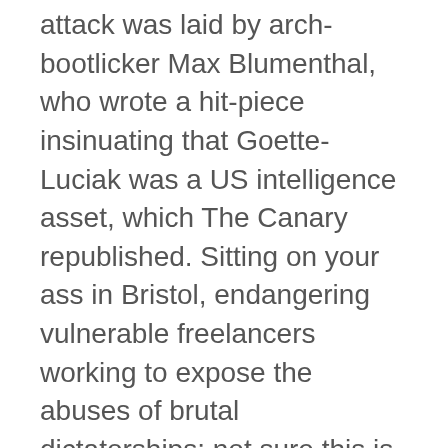attack was laid by arch-bootlicker Max Blumenthal, who wrote a hit-piece insinuating that Goette-Luciak was a US intelligence asset, which The Canary republished. Sitting on your ass in Bristol, endangering vulnerable freelancers working to expose the abuses of brutal dictatorships: not sure this is the future of journalism, lads.
For its part, the Guardian looked after me well. The pay was still derisory, of course. But their Americas editor called